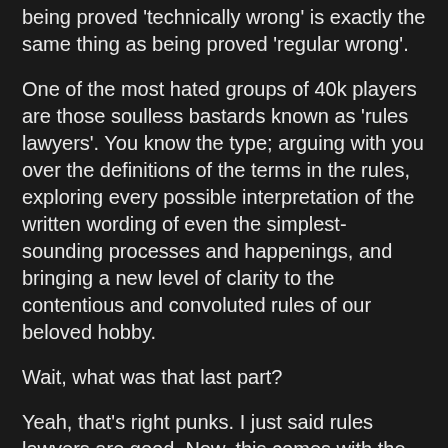being proved 'technically wrong' is exactly the same thing as being proved 'regular wrong'.
One of the most hated groups of 40k players are those soulless bastards known as 'rules lawyers'. You know the type; arguing with you over the definitions of the terms in the rules, exploring every possible interpretation of the written wording of even the simplest-sounding processes and happenings, and bringing a new level of clarity to the contentious and convoluted rules of our beloved hobby.
Wait, what was that last part?
Yeah, that's right punks. I just said rules lawyers are good. Now, this comes with the obvious caveat that taking anything too far is bad; Johnny Cochran is a bit dubious, but not every defense attorney is an unscrupulous prick, yah? Yah.
Break it down with me, daddy-o; we play Warhammer 40,000. This is a game that has rules. Those rules exist primarily in written form, the interpretations of which are obviously dependent on the meanings of the words with